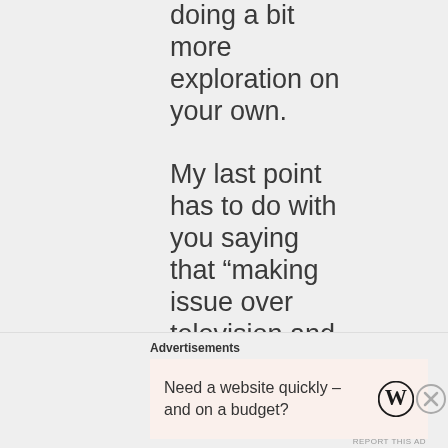doing a bit more exploration on your own.

My last point has to do with you saying that “making issue over television and movies diminishes problems
Advertisements
Need a website quickly – and on a budget?